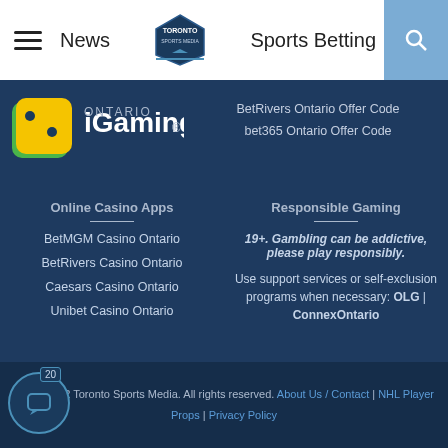News | Toronto Sports Media | Sports Betting
[Figure (logo): iGaming Ontario logo with dice icon]
BetRivers Ontario Offer Code
bet365 Ontario Offer Code
Online Casino Apps
BetMGM Casino Ontario
BetRivers Casino Ontario
Caesars Casino Ontario
Unibet Casino Ontario
Responsible Gaming
19+. Gambling can be addictive, please play responsibly.
Use support services or self-exclusion programs when necessary: OLG | ConnexOntario
Copyright © 2022 Toronto Sports Media. All rights reserved. About Us / Contact | NHL Player Props | Privacy Policy